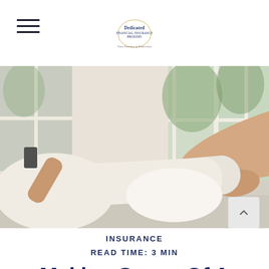Dedicated Financial Insurance Brokers — Your Partners in Protection
[Figure (photo): Person lying on a white sofa/windowseat in white clothing, relaxed, holding a phone, with large bright windows in the background showing green foliage]
INSURANCE
READ TIME: 3 MIN
Making Sense Of A Home